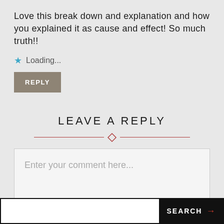Love this break down and explanation and how you explained it as cause and effect! So much truth!!
Loading...
REPLY
LEAVE A REPLY
Enter your comment here...
SEARCH